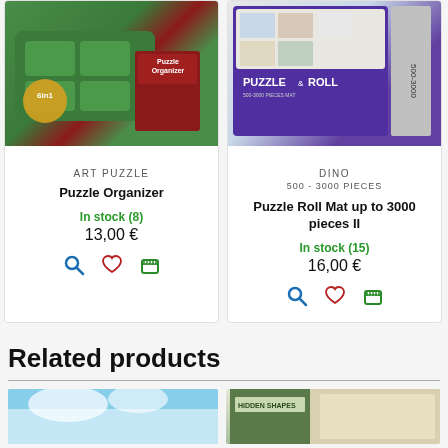[Figure (photo): Product card image for Puzzle Organizer: green puzzle tray with sorting trays and red box packaging]
ART PUZZLE
Puzzle Organizer
In stock (8)
13,00 €
[Figure (photo): Product card image for Puzzle Roll Mat: purple box with rolled mat, labeled PUZZLE & ROLL, 500-3000 pieces]
DINO
500 - 3000 PIECES
Puzzle Roll Mat up to 3000 pieces II
In stock (15)
16,00 €
Related products
[Figure (photo): Thumbnail of a puzzle product showing blue sky and clouds]
[Figure (photo): Thumbnail of Hidden Shapes puzzle product with green and beige tones]